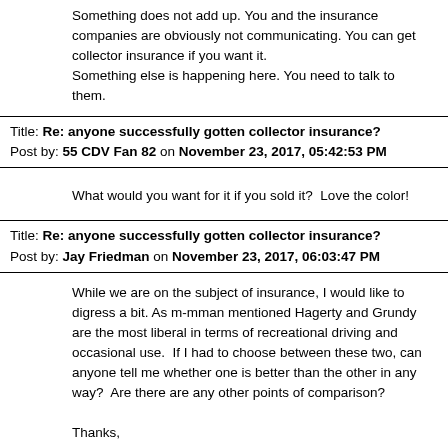Something does not add up. You and the insurance companies are obviously not communicating. You can get collector insurance if you want it.
Something else is happening here. You need to talk to them.
Title: Re: anyone successfully gotten collector insurance?
Post by: 55 CDV Fan 82 on November 23, 2017, 05:42:53 PM
What would you want for it if you sold it?  Love the color!
Title: Re: anyone successfully gotten collector insurance?
Post by: Jay Friedman on November 23, 2017, 06:03:47 PM
While we are on the subject of insurance, I would like to digress a bit. As m-mman mentioned Hagerty and Grundy are the most liberal in terms of recreational driving and occasional use.  If I had to choose between these two, can anyone tell me whether one is better than the other in any way?  Are there are any other points of comparison?

Thanks,
Title: Re: anyone successfully gotten collector insurance?
Post by: Mike Josephic CLC #3877 on November 24, 2017, 01:12:37 AM
I don't know from my OWN personal experience (thankfully) but